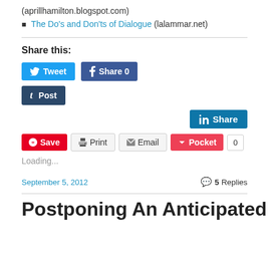(aprillhamilton.blogspot.com)
The Do's and Don'ts of Dialogue (lalammar.net)
Share this:
[Figure (infographic): Social sharing buttons: Tweet, Share 0 (Facebook), Post (Tumblr), Share (LinkedIn), Save (Pinterest), Print, Email, Pocket 0]
Loading...
September 5, 2012
5 Replies
Postponing An Anticipated